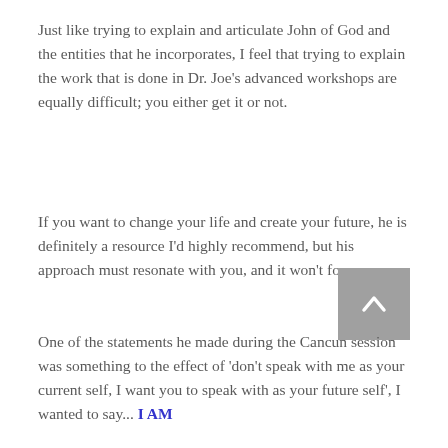Just like trying to explain and articulate John of God and the entities that he incorporates, I feel that trying to explain the work that is done in Dr. Joe's advanced workshops are equally difficult; you either get it or not.
If you want to change your life and create your future, he is definitely a resource I'd highly recommend, but his approach must resonate with you, and it won't for everyone.
One of the statements he made during the Cancun session was something to the effect of 'don't speak with me as your current self, I want you to speak with as your future self', I wanted to say... I AM